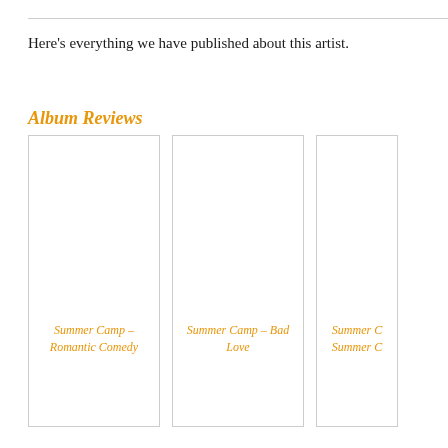Here's everything we have published about this artist.
Album Reviews
[Figure (other): Card: Summer Camp – Romantic Comedy album review card with empty image area]
[Figure (other): Card: Summer Camp – Bad Love album review card with empty image area]
[Figure (other): Card: Summer Camp – Summer C... (partially cut off) album review card with empty image area]